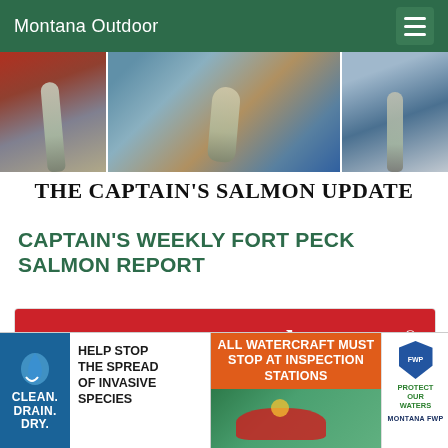Montana Outdoor
[Figure (photo): Three-panel fishing photo strip showing anglers holding large salmon fish on a boat]
THE CAPTAIN'S SALMON UPDATE
CAPTAIN'S WEEKLY FORT PECK SALMON REPORT
[Figure (advertisement): NorthWestern Energy advertisement on red background with text 'NorthWestern Energy - Delivering a Bright Future']
[Figure (advertisement): Clean. Drain. Dry. - Help Stop the Spread of Invasive Species banner ad with blue icon]
[Figure (advertisement): All Watercraft Must Stop at Inspection Stations - orange banner with kayak photo and Montana FWP Protect Our Waters logo]